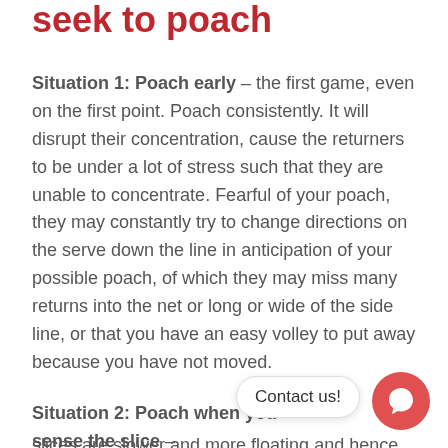seek to poach
Situation 1: Poach early – the first game, even on the first point. Poach consistently. It will disrupt their concentration, cause the returners to be under a lot of stress such that they are unable to concentrate. Fearful of your poach, they may constantly try to change directions on the serve down the line in anticipation of your possible poach, of which they may miss many returns into the net or long or wide of the side line, or that you have an easy volley to put away because you have not moved.
Situation 2: Poach when you sense the slice –
slices are slower and more floating and hence